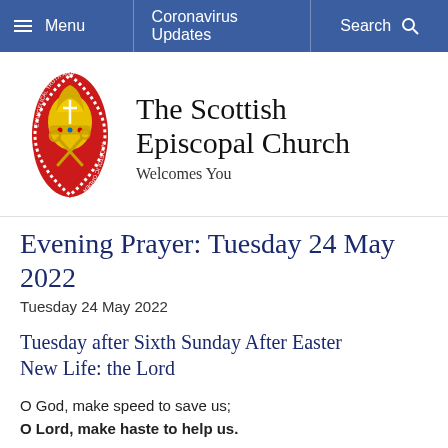Menu  |  Coronavirus Updates  |  Search
[Figure (logo): The Scottish Episcopal Church crest — red pointed oval with bishop's mitre and crossed keys, text around border reading 'Evangelical Truth and Apostolic Order']
The Scottish Episcopal Church
Welcomes You
Evening Prayer: Tuesday 24 May 2022
Tuesday 24 May 2022
Tuesday after Sixth Sunday After Easter
New Life: the Lord
O God, make speed to save us;
O Lord, make haste to help us.